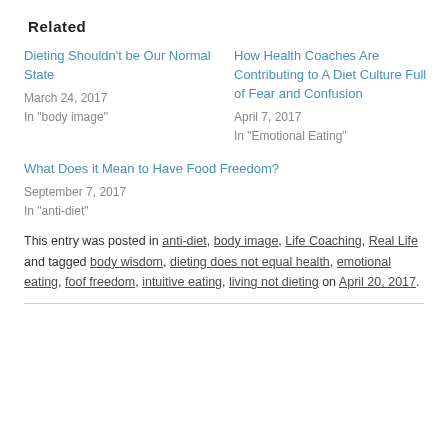Related
Dieting Shouldn't be Our Normal State
March 24, 2017
In "body image"
How Health Coaches Are Contributing to A Diet Culture Full of Fear and Confusion
April 7, 2017
In "Emotional Eating"
What Does it Mean to Have Food Freedom?
September 7, 2017
In "anti-diet"
This entry was posted in anti-diet, body image, Life Coaching, Real Life and tagged body wisdom, dieting does not equal health, emotional eating, foof freedom, intuitive eating, living not dieting on April 20, 2017.